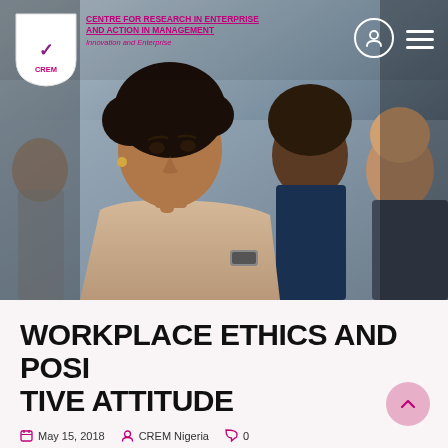[Figure (photo): Hero banner photo showing a group of people in a seminar/lecture setting. A woman in the foreground is thoughtfully listening with her hand near her chin. Other attendees are visible in the background.]
CENTRE FOR RESEARCH IN ENTERPRISE AND ACTION IN MANAGEMENT
Innovation and Enterprise
WORKPLACE ETHICS AND POSITIVE ATTITUDE
May 15, 2018   CREM Nigeria   0